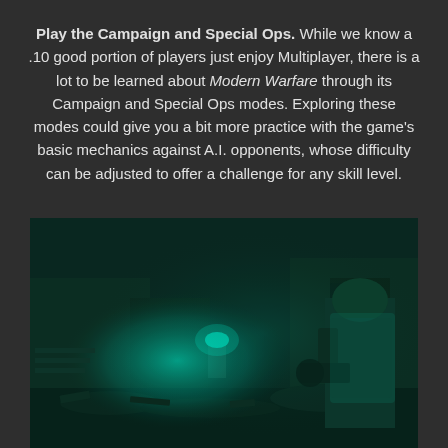Play the Campaign and Special Ops. While we know a .10 good portion of players just enjoy Multiplayer, there is a lot to be learned about Modern Warfare through its Campaign and Special Ops modes. Exploring these modes could give you a bit more practice with the game's basic mechanics against A.I. opponents, whose difficulty can be adjusted to offer a challenge for any skill level.
[Figure (photo): Night-vision style screenshot from Call of Duty: Modern Warfare showing a soldier in tactical gear standing in a dark, rubble-strewn environment with a glowing teal/green light source illuminating the scene]